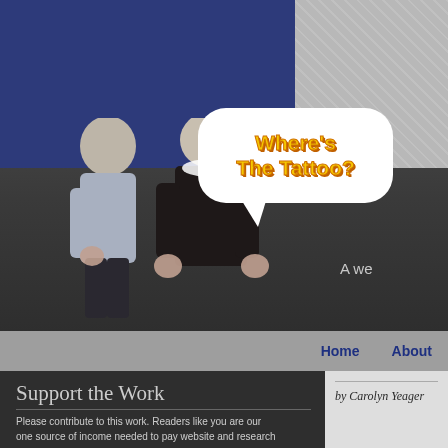[Figure (screenshot): Website header banner with dark blue rectangle top-left, gray patterned rectangle top-right, dark gray background with two elderly people (a man and a woman) standing, and a white speech bubble with yellow bold text reading 'Where's The Tattoo?']
A we
Home    About
Support the Work
Please contribute to this work. Readers like you are our one source of income needed to pay website and research
by Carolyn Yeager